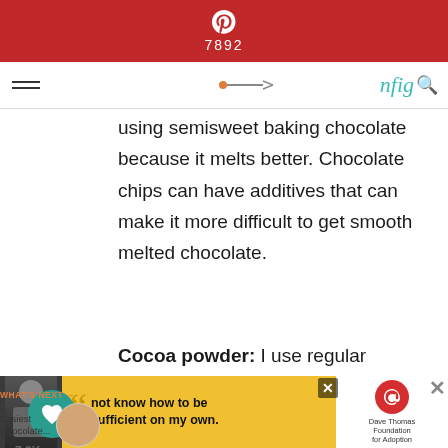Pinterest 7892
using semisweet baking chocolate because it melts better. Chocolate chips can have additives that can make it more difficult to get smooth melted chocolate.
Cocoa powder: I use regular unsweetened cocoa powder in this recipe. I haven't tried using Dutch-processed cocoa powder in these cookies.
Flour: It's important to properly measure the flour by either weighing it or by sifting
WHAT'S NEXT → Easiest Chocolate...
[Figure (screenshot): Advertisement banner with person photo, quote text 'not know how to be sufficient on my own.', and Dave Thomas Foundation for Adoption logo]